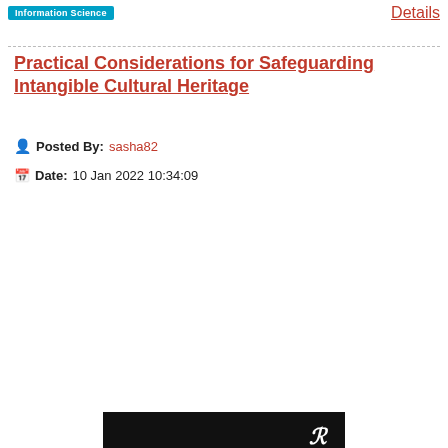Information Science | Details
Practical Considerations for Safeguarding Intangible Cultural Heritage
Posted By: sasha82
Date: 10 Jan 2022 10:34:09
[Figure (photo): Book cover of 'Practical Considerations for Safeguarding Intangible Cultural Heritage' by Michelle L. Stefano, published by Routledge. Black cover with white bold text and a nighttime scene at the bottom showing stadium lights.]